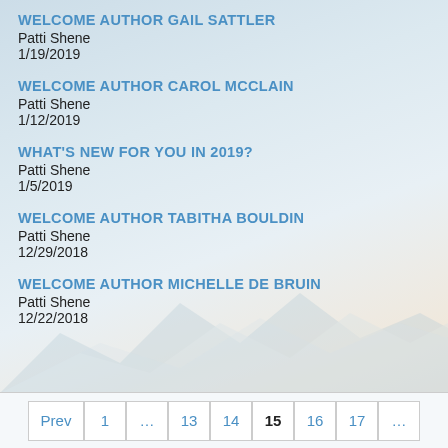WELCOME AUTHOR GAIL SATTLER
Patti Shene
1/19/2019
WELCOME AUTHOR CAROL McCLAIN
Patti Shene
1/12/2019
WHAT'S NEW FOR YOU IN 2019?
Patti Shene
1/5/2019
WELCOME AUTHOR TABITHA BOULDIN
Patti Shene
12/29/2018
WELCOME AUTHOR MICHELLE DE BRUIN
Patti Shene
12/22/2018
Prev  1  ...  13  14  15  16  17  ...